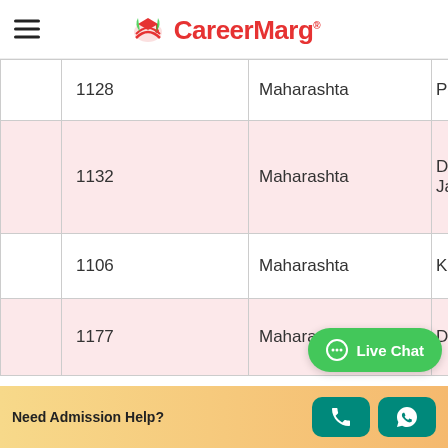CareerMarg
| ID |  | State | College |
| --- | --- | --- | --- |
| 1128 |  | Maharashta | Pos… |
| 1132 |  | Maharashta | Dr. M Jam… |
| 1106 |  | Maharashta | Kaly… |
| 1177 |  | Maharas… | Dr… |
Live Chat
Need Admission Help?